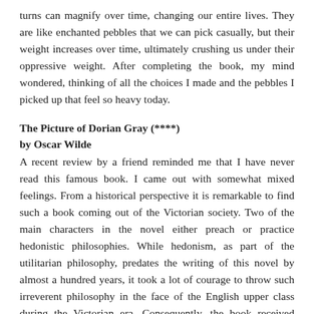turns can magnify over time, changing our entire lives. They are like enchanted pebbles that we can pick casually, but their weight increases over time, ultimately crushing us under their oppressive weight. After completing the book, my mind wondered, thinking of all the choices I made and the pebbles I picked up that feel so heavy today.
The Picture of Dorian Gray (****)
by Oscar Wilde
A recent review by a friend reminded me that I have never read this famous book. I came out with somewhat mixed feelings. From a historical perspective it is remarkable to find such a book coming out of the Victorian society. Two of the main characters in the novel either preach or practice hedonistic philosophies. While hedonism, as part of the utilitarian philosophy, predates the writing of this novel by almost a hundred years, it took a lot of courage to throw such irreverent philosophy in the face of the English upper class during the Victorian era. Consequently, the book received tremendous criticism and moral outcry.